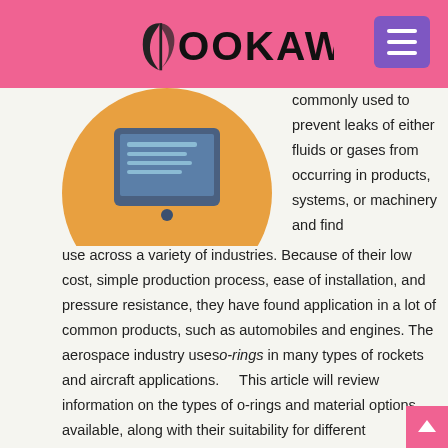BOOKAW
[Figure (illustration): Circular orange illustration with a tablet/book device in the center, partially visible at top-left of content area]
commonly used to prevent leaks of either fluids or gases from occurring in products, systems, or machinery and find use across a variety of industries. Because of their low cost, simple production process, ease of installation, and pressure resistance, they have found application in a lot of common products, such as automobiles and engines. The aerospace industry uses o-rings in many types of rockets and aircraft applications.     This article will review information on the types of o-rings and material options available, along with their suitability for different applications. Selection Factors     The fact that o-rings can function in so many applications is largely attributable to the fact that there is a wide range of materials available from which they may be fabricated. This range of selection allows the designer to consider the properties of the material and select a suitable option based on how well that material performs against the expected operating conditions of the